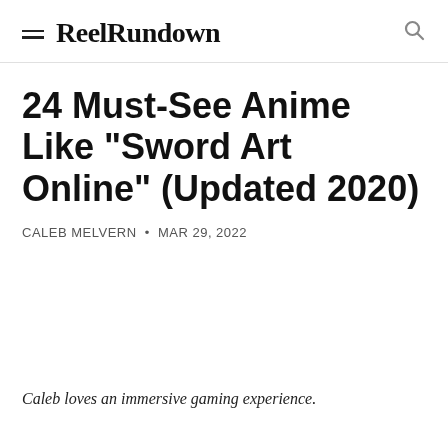ReelRundown
24 Must-See Anime Like "Sword Art Online" (Updated 2020)
CALEB MELVERN • MAR 29, 2022
Caleb loves an immersive gaming experience.